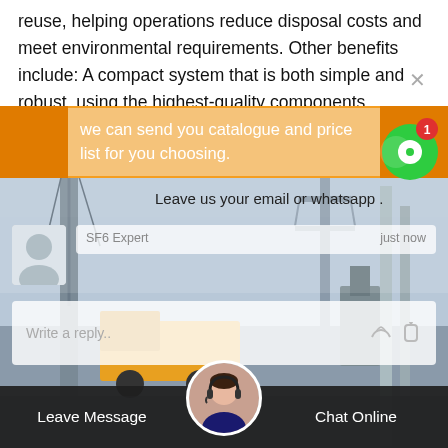reuse, helping operations reduce disposal costs and meet environmental requirements. Other benefits include: A compact system that is both simple and robust, using the highest-quality components available.
[Figure (screenshot): Chat popup overlay on top of an industrial photo showing cranes and electrical infrastructure. The chat popup has an orange header with text 'we can send you catalogue and price list for you choosing.' and a field 'Leave us your email or whatsapp .' with an SF6 Expert chat agent shown 'just now'. A reply box shows 'Write a reply..' with like and attachment icons. A green notification bubble with '1' is visible at top right. At the bottom is a dark bar with 'Leave Message' and 'Chat Online' options and a customer service agent avatar.]